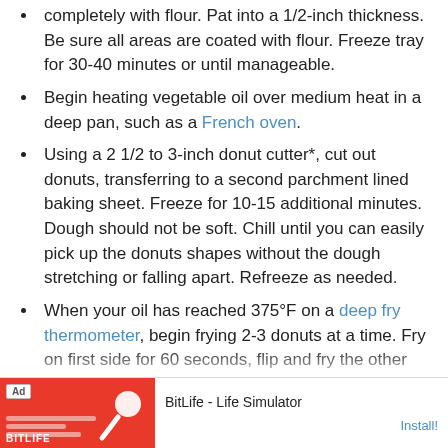completely with flour. Pat into a 1/2-inch thickness. Be sure all areas are coated with flour. Freeze tray for 30-40 minutes or until manageable.
Begin heating vegetable oil over medium heat in a deep pan, such as a French oven.
Using a 2 1/2 to 3-inch donut cutter*, cut out donuts, transferring to a second parchment lined baking sheet. Freeze for 10-15 additional minutes. Dough should not be soft. Chill until you can easily pick up the donuts shapes without the dough stretching or falling apart. Refreeze as needed.
When your oil has reached 375°F on a deep fry thermometer, begin frying 2-3 donuts at a time. Fry on first side for 60 seconds, flip and fry the other side for an additional 60 seconds. Drain on paper towels. Repeat process with remaining donuts.
For cinnamon-sugar topping: combine cinnamon and sugar in a large shallow bowl. Press donuts lightly into mixture, flip and coat remaining side.
[Figure (screenshot): Mobile ad banner for BitLife - Life Simulator app with red background and Install! button]